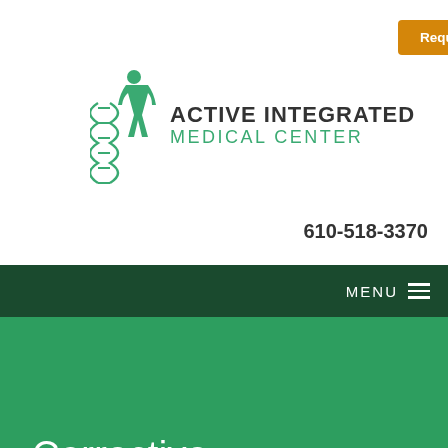[Figure (logo): Active Integrated Medical Center logo with DNA double helix and human figure icon in green]
Request an Appointment >
610-518-3370
MENU
Corrective Chiropractic Care